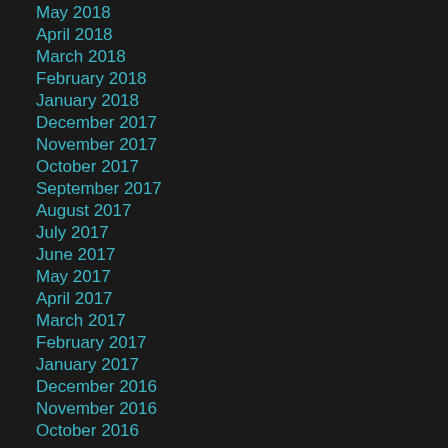May 2018
April 2018
March 2018
February 2018
January 2018
December 2017
November 2017
October 2017
September 2017
August 2017
July 2017
June 2017
May 2017
April 2017
March 2017
February 2017
January 2017
December 2016
November 2016
October 2016